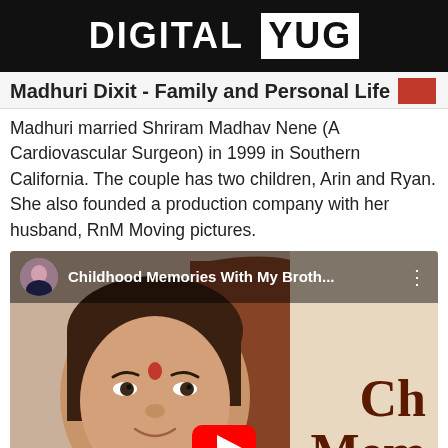DIGITAL YUG
Madhuri Dixit - Family and Personal Life
Madhuri married Shriram Madhav Nene (A Cardiovascular Surgeon) in 1999 in Southern California. The couple has two children, Arin and Ryan. She also founded a production company with her husband, RnM Moving pictures.
[Figure (screenshot): YouTube video thumbnail showing 'Childhood Memories With My Broth...' with a man's face (bindi on forehead) and decorative brown letter B in background, YouTube play button visible at bottom center, 'Ch Mem' text visible at bottom right.]